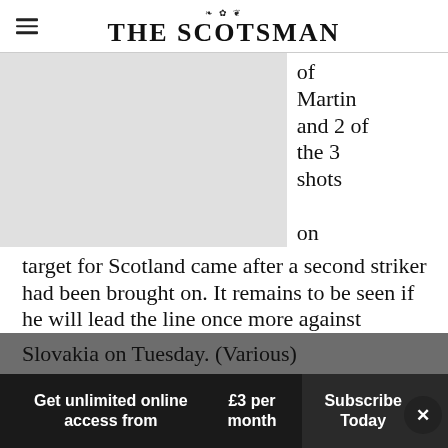THE SCOTSMAN
[Figure (photo): Partial image of a person (likely a footballer), cropped, grey placeholder visible]
of Martin and 2 of the 3 shots on target for Scotland came after a second striker had been brought on. It remains to be seen if he will lead the line once more against Slovakia on Tuesday. (Various)
Xavi predicts how Celtic will fare in Europe
Get unlimited online access from £3 per month
Subscribe Today